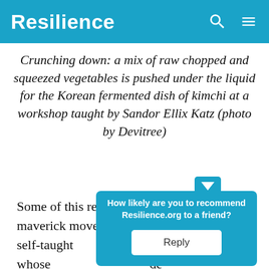Resilience
Crunching down: a mix of raw chopped and squeezed vegetables is pushed under the liquid for the Korean fermented dish of kimchi at a workshop taught by Sandor Ellix Katz (photo by Devitree)
Some of this revival is due to the bold maverick moves of Sandor Ellix Katz, a self-taught … essee whose … de books … of